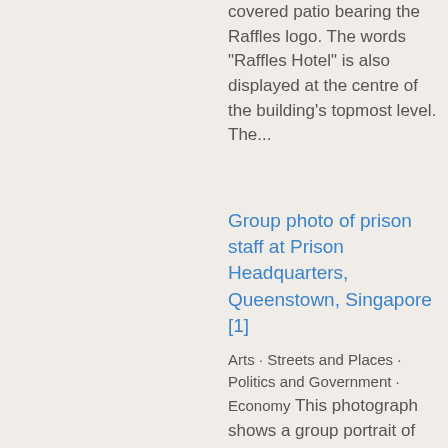covered patio bearing the Raffles logo. The words "Raffles Hotel" is also displayed at the centre of the building's topmost level. The...
Group photo of prison staff at Prison Headquarters, Queenstown, Singapore [1]
Arts · Streets and Places · Politics and Government · Economy This photograph shows a group portrait of prison